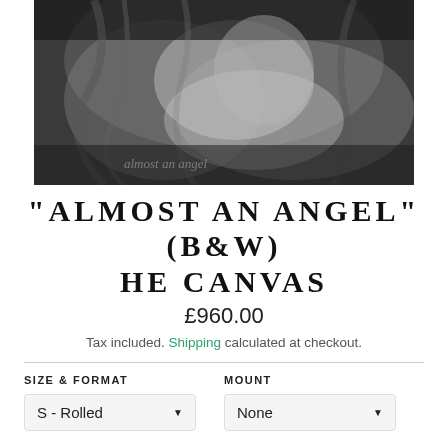[Figure (photo): Black and white photograph of an angel sculpture or figure with flowing robes and curled hair, artistic close-up]
"ALMOST AN ANGEL" (B&W) HE CANVAS
£960.00
Tax included. Shipping calculated at checkout.
SIZE & FORMAT
MOUNT
S - Rolled
None